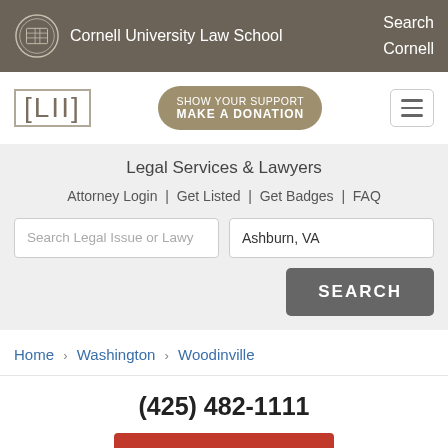Cornell University Law School | Search Cornell
[Figure (logo): LII logo and SHOW YOUR SUPPORT / MAKE A DONATION button with hamburger menu]
Legal Services & Lawyers
Attorney Login | Get Listed | Get Badges | FAQ
Search Legal Issue or Lawy | Ashburn, VA | SEARCH
Home › Washington › Woodinville
(425) 482-1111